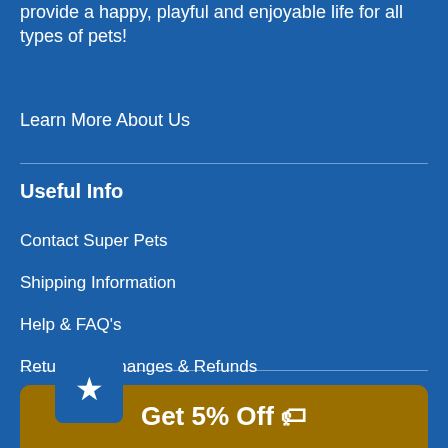provide a happy, playful and enjoyable life for all types of pets!
Learn More About Us
Useful Info
Contact Super Pets
Shipping Information
Help & FAQ's
Returns, Exchanges & Refunds
Affiliate Program
Get 5% Off 🏷